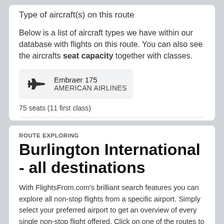Type of aircraft(s) on this route
Below is a list of aircraft types we have within our database with flights on this route. You can also see the aircrafts seat capacity together with classes.
Embraer 175
AMERICAN AIRLINES
75 seats (11 first class)
ROUTE EXPLORING
Burlington International - all destinations
With FlightsFrom.com's brilliant search features you can explore all non-stop flights from a specific airport. Simply select your preferred airport to get an overview of every single non-stop flight offered. Click on one of the routes to get information about which airline's operate the route, when the next scheduled flight